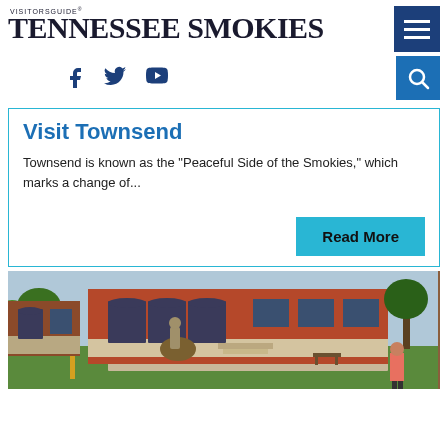VISITORS GUIDE Tennessee Smokies
Visit Townsend
Townsend is known as the "Peaceful Side of the Smokies," which marks a change of...
Read More
[Figure (photo): Exterior of a historic red brick building with arched windows and a statue in front on a grassy lawn, with a woman visible in the foreground right]